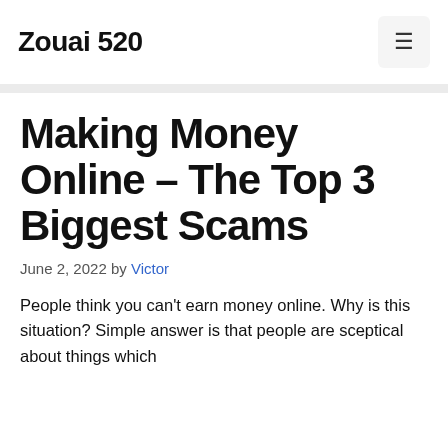Zouai 520
Making Money Online – The Top 3 Biggest Scams
June 2, 2022 by Victor
People think you can't earn money online. Why is this situation? Simple answer is that people are sceptical about things which